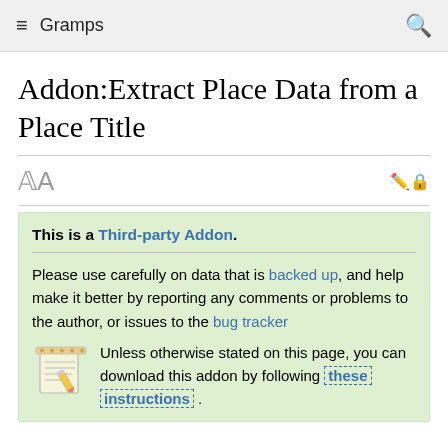Gramps
Addon:Extract Place Data from a Place Title
This is a Third-party Addon. Please use carefully on data that is backed up, and help make it better by reporting any comments or problems to the author, or issues to the bug tracker. Unless otherwise stated on this page, you can download this addon by following these instructions .